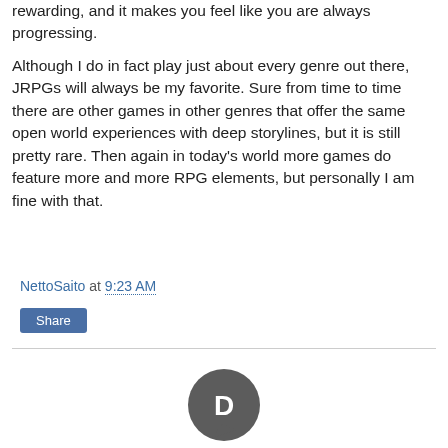rewarding, and it makes you feel like you are always progressing.
Although I do in fact play just about every genre out there, JRPGs will always be my favorite. Sure from time to time there are other games in other genres that offer the same open world experiences with deep storylines, but it is still pretty rare. Then again in today's world more games do feature more and more RPG elements, but personally I am fine with that.
NettoSaito at 9:23 AM
Share
[Figure (logo): Disqus logo - circular speech bubble icon with letter D]